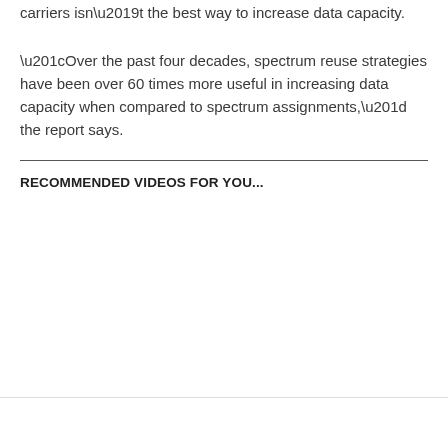carriers isn't the best way to increase data capacity.
“Over the past four decades, spectrum reuse strategies have been over 60 times more useful in increasing data capacity when compared to spectrum assignments,” the report says.
RECOMMENDED VIDEOS FOR YOU...